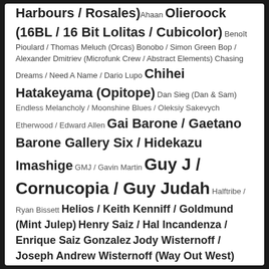Harbours / Rosales) Ahaan Olieroock (16BL / 16 Bit Lolitas / Cubicolor) Benoît Pioulard / Thomas Meluch (Orcas) Bonobo / Simon Green Bop / Alexander Dmitriev (Microfunk Crew / Abstract Elements) Chasing Dreams / Need A Name / Dario Lupo Chihei Hatakeyama (Opitope) Dan Sieg (Dan & Sam) Endless Melancholy / Moonshine Blues / Oleksiy Sakevych Etherwood / Edward Allen Gai Barone / Gaetano Barone Gallery Six / Hidekazu Imashige GMJ / Gavin Martin Guy J / Cornucopia / Guy Judah Halftribe / Ryan Bissett Helios / Keith Kenniff / Goldmund (Mint Julep) Henry Saiz / Hal Incandenza / Enrique Saiz Gonzalez Jody Wisternoff / Joseph Andrew Wisternoff (Way Out West) Jogging House / Boris Potschubay Joris Voorn / Dark Science Kobana / Filip Kaczmarek